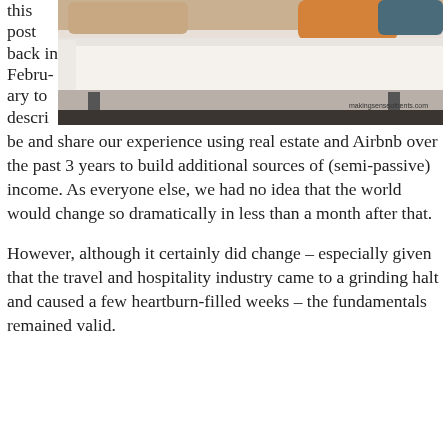this post back in February to describe
[Figure (photo): Photo of a white sofa with beige and orange cushions, with watermark text 'makingsenseofcents.com']
be and share our experience using real estate and Airbnb over the past 3 years to build additional sources of (semi-passive) income. As everyone else, we had no idea that the world would change so dramatically in less than a month after that.
However, although it certainly did change – especially given that the travel and hospitality industry came to a grinding halt and caused a few heartburn-filled weeks – the fundamentals remained valid.